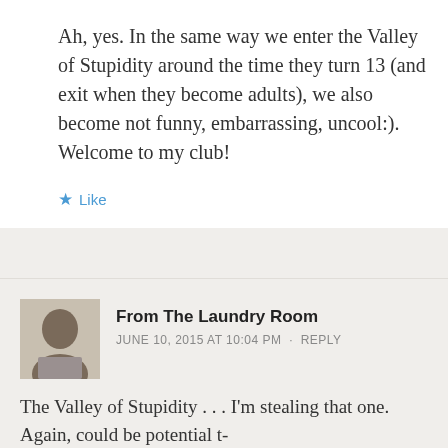Ah, yes. In the same way we enter the Valley of Stupidity around the time they turn 13 (and exit when they become adults), we also become not funny, embarrassing, uncool:). Welcome to my club!
Like
From The Laundry Room
JUNE 10, 2015 AT 10:04 PM · REPLY
The Valley of Stupidity . . . I'm stealing that one. Again, could be potential t-